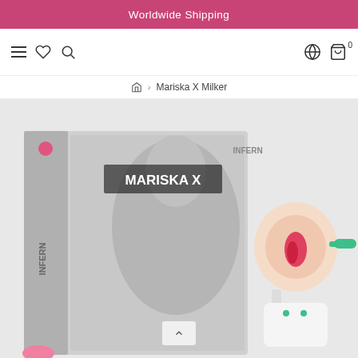Worldwide Shipping
[Figure (screenshot): Navigation bar with hamburger menu, heart/wishlist icon, search icon on the left; globe and cart icons on the right]
🏠 › Mariska X Milker
[Figure (photo): Product photo showing Mariska X Milker box packaging with black-and-white model image labeled MARISKA X, alongside the device accessory in beige/pink color]